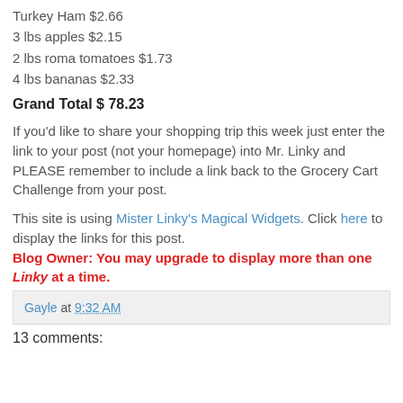Turkey Ham $2.66
3 lbs apples $2.15
2 lbs roma tomatoes $1.73
4 lbs bananas $2.33
Grand Total $ 78.23
If you'd like to share your shopping trip this week just enter the link to your post (not your homepage) into Mr. Linky and PLEASE remember to include a link back to the Grocery Cart Challenge from your post.
This site is using Mister Linky's Magical Widgets. Click here to display the links for this post. Blog Owner: You may upgrade to display more than one Linky at a time.
Gayle at 9:32 AM
13 comments: